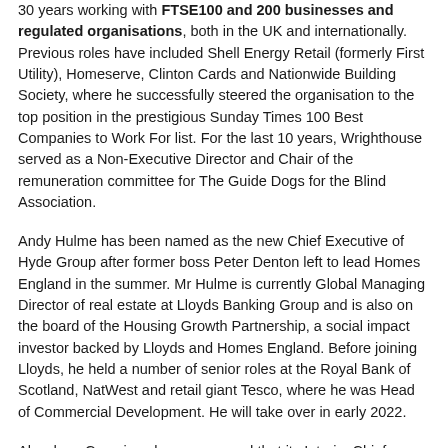30 years working with FTSE100 and 200 businesses and regulated organisations, both in the UK and internationally. Previous roles have included Shell Energy Retail (formerly First Utility), Homeserve, Clinton Cards and Nationwide Building Society, where he successfully steered the organisation to the top position in the prestigious Sunday Times 100 Best Companies to Work For list. For the last 10 years, Wrighthouse served as a Non-Executive Director and Chair of the remuneration committee for The Guide Dogs for the Blind Association.
Andy Hulme has been named as the new Chief Executive of Hyde Group after former boss Peter Denton left to lead Homes England in the summer. Mr Hulme is currently Global Managing Director of real estate at Lloyds Banking Group and is also on the board of the Housing Growth Partnership, a social impact investor backed by Lloyds and Homes England. Before joining Lloyds, he held a number of senior roles at the Royal Bank of Scotland, NatWest and retail giant Tesco, where he was Head of Commercial Development. He will take over in early 2022.
Aberdeen Cyrenians has announced that its Interim Chief Executive, Chris Bennett-Taylor has been appointed to the role on a permanent basis. Mr Bennett-Taylor was appointed Interim Chief Executive in July following the departure of Mike Burns and was